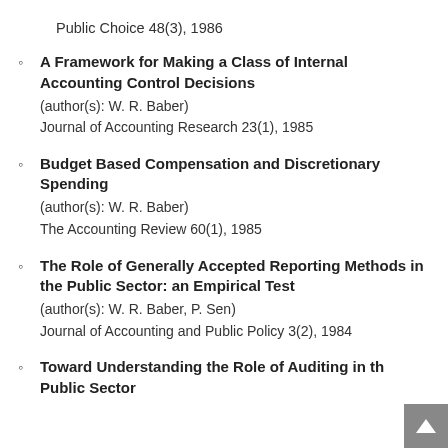Public Choice 48(3), 1986
A Framework for Making a Class of Internal Accounting Control Decisions
(author(s): W. R. Baber)
Journal of Accounting Research 23(1), 1985
Budget Based Compensation and Discretionary Spending
(author(s): W. R. Baber)
The Accounting Review 60(1), 1985
The Role of Generally Accepted Reporting Methods in the Public Sector: an Empirical Test
(author(s): W. R. Baber, P. Sen)
Journal of Accounting and Public Policy 3(2), 1984
Toward Understanding the Role of Auditing in the Public Sector